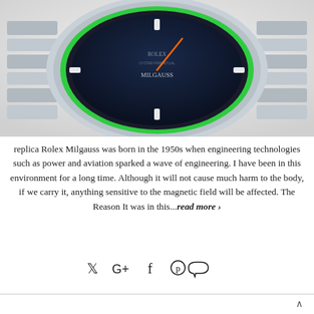[Figure (photo): Close-up photo of a Rolex Milgauss watch with a dark blue/green dial and silver stainless steel bracelet, viewed from the front lower half showing the case and bracelet]
replica Rolex Milgauss was born in the 1950s when engineering technologies such as power and aviation sparked a wave of engineering. I have been in this environment for a long time. Although it will not cause much harm to the body, if we carry it, anything sensitive to the magnetic field will be affected. The Reason It was in this...read more ›
[Figure (infographic): Social sharing icons row: Twitter bird, Google+, Facebook f, Pinterest pin, Comment bubble]